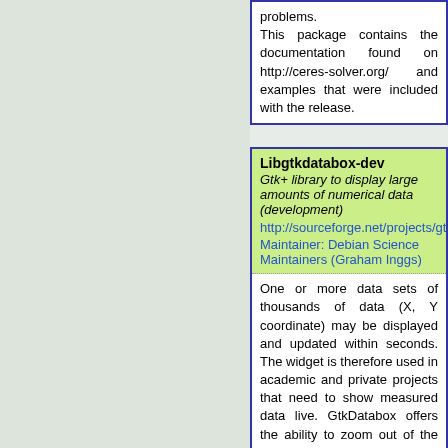problems. This package contains the documentation found on http://ceres-solver.org/ and examples that were included with the release.
Libgtkdatabox-dev
Gtk+ library to display large amounts of numerical data (development)
http://sourceforge.net/projects/gtkdatabox
Maintainer: Debian Science Maintainers (Graham Inggs)
One or more data sets of thousands of data points (X, Y coordinate) may be displayed and updated within seconds. The widget is therefore used in academic and private projects that need to show measured data live. GtkDatabox offers the ability to zoom in and out of the data and to navigate through it by scrolling. In addition to rulers and a simple cross hair, GtkDatabox now also allows you to add one (or more) configurable grids like on an oscilloscope. Data may be presented as dots, lines, bars of data, or vertical bars. The widget allows you to transform pixel coordinates into data coordinates, allowing you to easily create powerful tools for data analysis. Development package